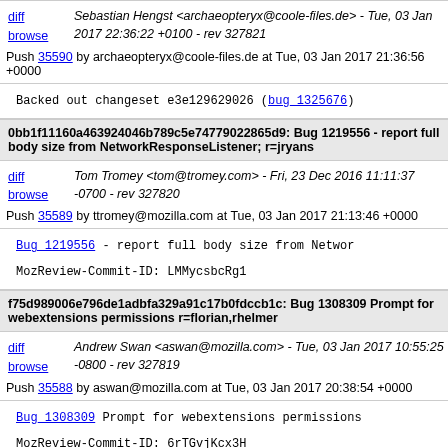diff browse | Sebastian Hengst <archaeopteryx@coole-files.de> - Tue, 03 Jan 2017 22:36:22 +0100 - rev 327821
Push 35590 by archaeopteryx@coole-files.de at Tue, 03 Jan 2017 21:36:56 +0000
Backed out changeset e3e129629026 (bug_1325676)
0bb1f11160a463924046b789c5e74779022865d9: Bug 1219556 - report full body size from NetworkResponseListener; r=jryans
diff browse | Tom Tromey <tom@tromey.com> - Fri, 23 Dec 2016 11:11:37 -0700 - rev 327820
Push 35589 by ttromey@mozilla.com at Tue, 03 Jan 2017 21:13:46 +0000
Bug_1219556 - report full body size from NetworkResponseListener
MozReview-Commit-ID: LMMycsbcRg1
f75d989006e796de1adbfa329a91c17b0fdccb1c: Bug 1308309 Prompt for webextensions permissions r=florian,rhelmer
diff browse | Andrew Swan <aswan@mozilla.com> - Tue, 03 Jan 2017 10:55:25 -0800 - rev 327819
Push 35588 by aswan@mozilla.com at Tue, 03 Jan 2017 20:38:54 +0000
Bug_1308309 Prompt for webextensions permissions
MozReview-Commit-ID: 6rTGvjKcx3H